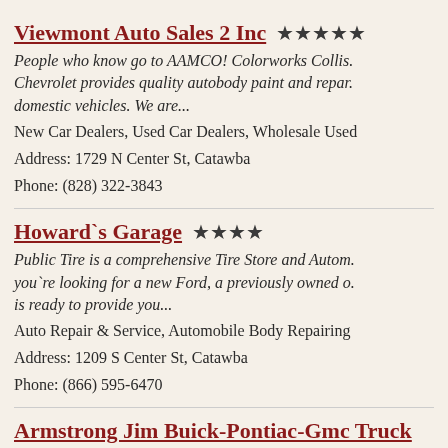Viewmont Auto Sales 2 Inc ★★★★★
People who know go to AAMCO! Colorworks Collis. Chevrolet provides quality autobody paint and repar. domestic vehicles. We are...
New Car Dealers, Used Car Dealers, Wholesale Used
Address: 1729 N Center St, Catawba
Phone: (828) 322-3843
Howard`s Garage ★★★★
Public Tire is a comprehensive Tire Store and Autom. you`re looking for a new Ford, a previously owned o. is ready to provide you...
Auto Repair & Service, Automobile Body Repairing
Address: 1209 S Center St, Catawba
Phone: (866) 595-6470
Armstrong Jim Buick-Pontiac-Gmc Truck Inc
Fastest Service in Town! At Downes Auto Parts, we a. and offer a full range of import and domestic autom.
New Car Dealers